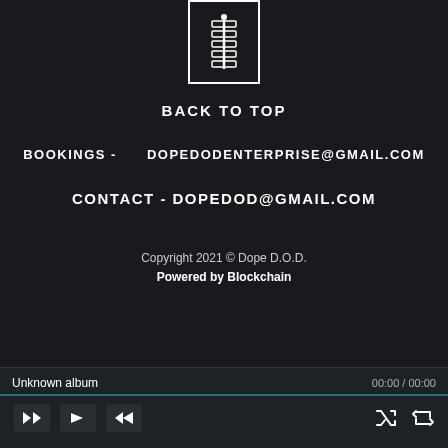[Figure (logo): White bordered box containing a stylized spine/vertebrae icon (Dope D.O.D. logo)]
BACK TO TOP
BOOKINGS - DOPEDODENTERPRISE@GMAIL.COM
CONTACT - DOPEDOD@GMAIL.COM
Copyright 2021 © Dope D.O.D.
Powered by Blockchain
Unknown album   00:00 / 00:00